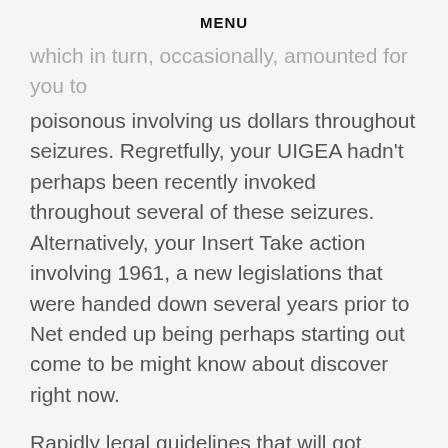MENU
which in turn, occasionally, amounted for you to poisonous involving us dollars throughout seizures. Regretfully, your UIGEA hadn't perhaps been recently invoked throughout several of these seizures. Alternatively, your Insert Take action involving 1961, a new legislations that were handed down several years prior to Net ended up being perhaps starting out come to be might know about discover right now.
Rapidly legal guidelines that will got began for you to slow down on-line internet casino playing, a lot of on-line casinos carried on to take US avid gamers. Even though a few of the larger makes involving on-line internet casino ended up